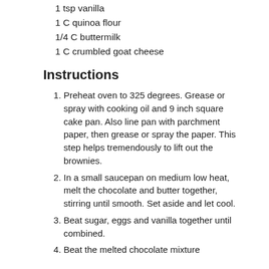1 tsp vanilla
1 C quinoa flour
1/4 C buttermilk
1 C crumbled goat cheese
Instructions
1. Preheat oven to 325 degrees. Grease or spray with cooking oil and 9 inch square cake pan. Also line pan with parchment paper, then grease or spray the paper. This step helps tremendously to lift out the brownies.
2. In a small saucepan on medium low heat, melt the chocolate and butter together, stirring until smooth. Set aside and let cool.
3. Beat sugar, eggs and vanilla together until combined.
4. Beat the melted chocolate mixture